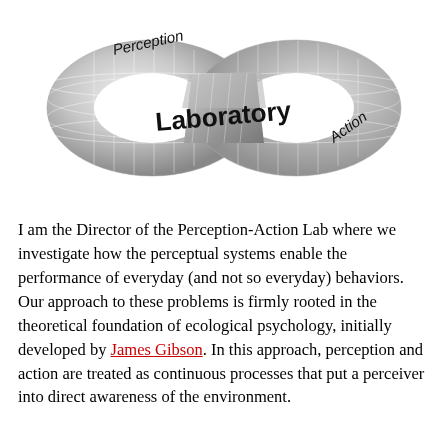[Figure (illustration): A Möbius strip / infinity loop shaped object with a grid texture, rendered in grayscale 3D. The left loop is labeled 'Perception' at the top, the center front reads 'Laboratory' in large text, and the right loop is labeled 'Action'.]
I am the Director of the Perception-Action Lab where we investigate how the perceptual systems enable the performance of everyday (and not so everyday) behaviors. Our approach to these problems is firmly rooted in the theoretical foundation of ecological psychology, initially developed by James Gibson. In this approach, perception and action are treated as continuous processes that put a perceiver into direct awareness of the environment.